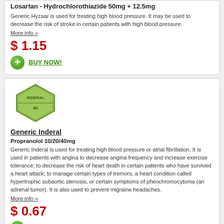Losartan - Hydrochlorothiazide 50mg + 12.5mg
Generic Hyzaar is used for treating high blood pressure. It may be used to decrease the risk of stroke in certain patients with high blood pressure. More info »
$ 1.15
BUY NOW!
[Figure (photo): Green hexagonal pill tablet with INDERAL 40 text]
Generic Inderal
Propranolol 10/20/40mg
Generic Inderal is used for treating high blood pressure or atrial fibrillation. It is used in patients with angina to decrease angina frequency and increase exercise tolerance; to decrease the risk of heart death in certain patients who have survived a heart attack; to manage certain types of tremors, a heart condition called hypertrophic subaortic stenosis, or certain symptoms of pheochromocytoma (an adrenal tumor). It is also used to prevent migraine headaches. More info »
$ 0.67
BUY NOW!
[Figure (photo): Blue capsule pill]